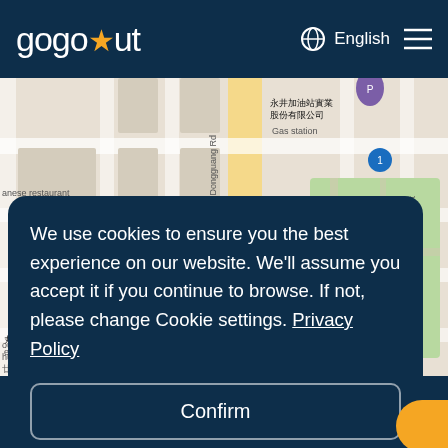gogoout   English  ☰
[Figure (map): Interactive map showing streets in Taiwan with Chinese and English labels. Visible labels include: 永井加油站實業股份有限公司 (Gas station), Section 2 Dongguang Rd, Houjia 1st Rd, Houjia 3rd St, Pingshi Park 平賓公園, 花花世界鍋物, 丸拉麵 (ramen restaurant). Map pins in orange (food), blue/teal, and purple (gas).]
We use cookies to ensure you the best experience on our website. We'll assume you accept it if you continue to browse. If not, please change Cookie settings. Privacy Policy
Confirm
Close
g
Address: 18F., No. 202, Sec. 2, Yanping N. Rd., Datong Dist., Taipei